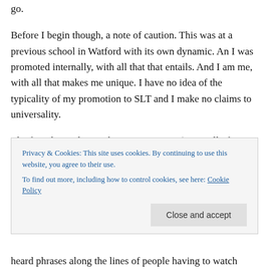go.
Before I begin though, a note of caution. This was at a previous school in Watford with its own dynamic. An I was promoted internally, with all that that entails. And I am me, with all that makes me unique. I have no idea of the typicality of my promotion to SLT and I make no claims to universality.
The first thing I learnt about joining SLT (especially from within) is that it is a crossing of a line, in some ways for you and in some ways for others. You will be seen
Privacy & Cookies: This site uses cookies. By continuing to use this website, you agree to their use.
To find out more, including how to control cookies, see here: Cookie Policy
Close and accept
heard phrases along the lines of people having to watch